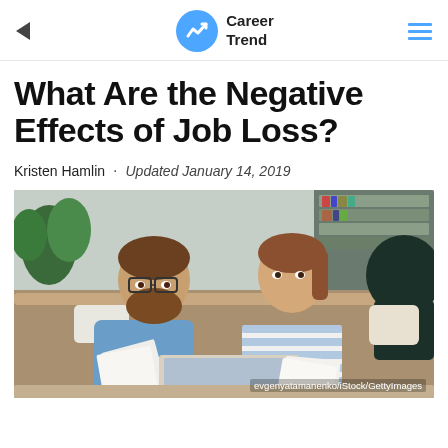Career Trend
What Are the Negative Effects of Job Loss?
Kristen Hamlin · Updated January 14, 2019
[Figure (photo): A bearded man wearing glasses and a blue shirt holds papers while looking at a woman in a striped top who looks back at him; they appear to be reviewing financial documents with a laptop on the table between them, sitting in a living room setting. Photo credit: evgenyatamanenko/iStock/GettyImages]